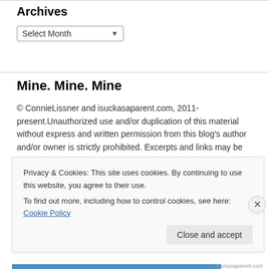Archives
Select Month
Mine. Mine. Mine
© ConnieLissner and isuckasaparent.com, 2011-present.Unauthorized use and/or duplication of this material without express and written permission from this blog's author and/or owner is strictly prohibited. Excerpts and links may be used, provided that full and clear credit is given to Connie Lissner and isuckasaparent.com with appropriate and specific direction to the original content.
Privacy & Cookies: This site uses cookies. By continuing to use this website, you agree to their use.
To find out more, including how to control cookies, see here: Cookie Policy
Close and accept